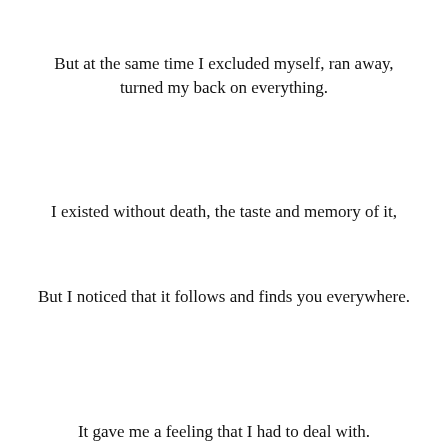But at the same time I excluded myself, ran away, turned my back on everything.
I existed without death, the taste and memory of it,
But I noticed that it follows and finds you everywhere.
It gave me a feeling that I had to deal with.
You in an urn.
Advertisements — Search, browse, and email with more privacy. All in One Free App — DuckDuckGo